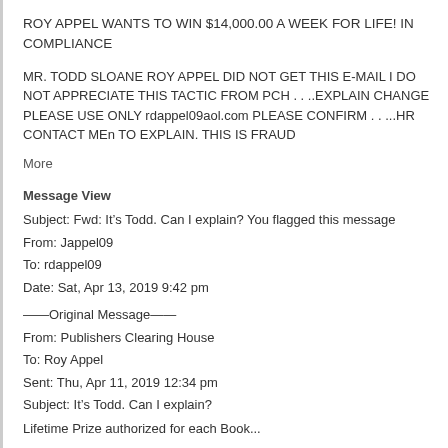ROY APPEL WANTS TO WIN $14,000.00 A WEEK FOR LIFE! IN COMPLIANCE
MR. TODD SLOANE ROY APPEL DID NOT GET THIS E-MAIL I DO NOT APPRECIATE THIS TACTIC FROM PCH . . ..EXPLAIN CHANGE PLEASE USE ONLY rdappel09aol.com PLEASE CONFIRM . . ...HR CONTACT MEn TO EXPLAIN. THIS IS FRAUD
More
Message View
Subject: Fwd: It’s Todd. Can I explain? You flagged this message
From: Jappel09
To: rdappel09
Date: Sat, Apr 13, 2019 9:42 pm
——Original Message——
From: Publishers Clearing House
To: Roy Appel
Sent: Thu, Apr 11, 2019 12:34 pm
Subject: It’s Todd. Can I explain?
Lifetime Prize authorized for each Book...